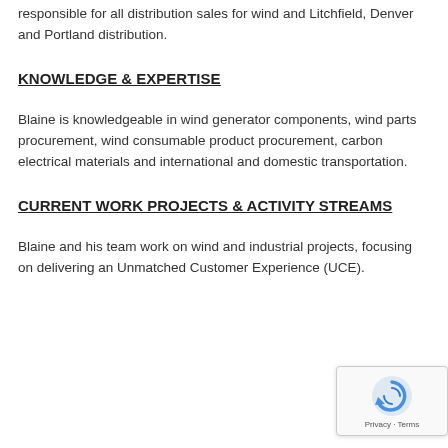responsible for all distribution sales for wind and Litchfield, Denver and Portland distribution.
KNOWLEDGE & EXPERTISE
Blaine is knowledgeable in wind generator components, wind parts procurement, wind consumable product procurement, carbon electrical materials and international and domestic transportation.
CURRENT WORK PROJECTS & ACTIVITY STREAMS
Blaine and his team work on wind and industrial projects, focusing on delivering an Unmatched Customer Experience (UCE).
[Figure (other): reCAPTCHA widget overlay showing a circular arrow icon and 'Privacy - Terms' text]